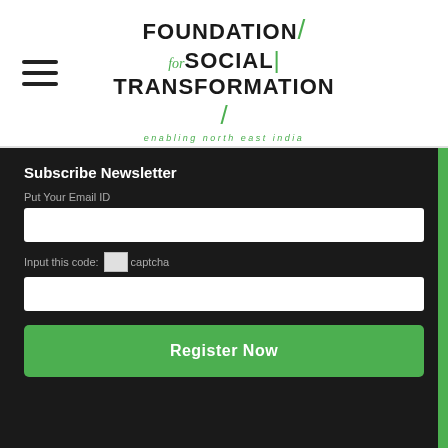[Figure (logo): Foundation for Social Transformation logo - text logo with leaf graphic and tagline 'enabling north east india']
Subscribe Newsletter
Put Your Email ID
Input this code: captcha
Register Now
Donate Today